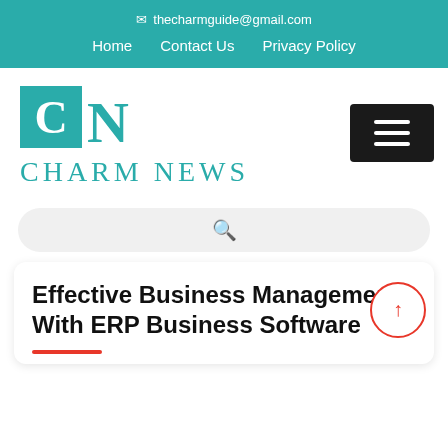✉ thecharmguide@gmail.com
Home  Contact Us  Privacy Policy
[Figure (logo): Charm News logo with teal CN monogram square and teal CHARM NEWS text]
[Figure (other): Dark hamburger menu button with three white horizontal lines]
[Figure (other): Search bar with magnifying glass icon]
Effective Business Management With ERP Business Software